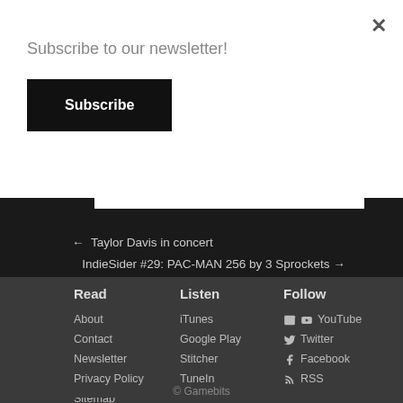Subscribe to our newsletter!
Subscribe
My Tweets
← Taylor Davis in concert
IndieSider #29: PAC-MAN 256 by 3 Sprockets →
Read
About
Contact
Newsletter
Privacy Policy
Sitemap
Listen
iTunes
Google Play
Stitcher
TuneIn
Follow
YouTube
Twitter
Facebook
RSS
© Gamebits